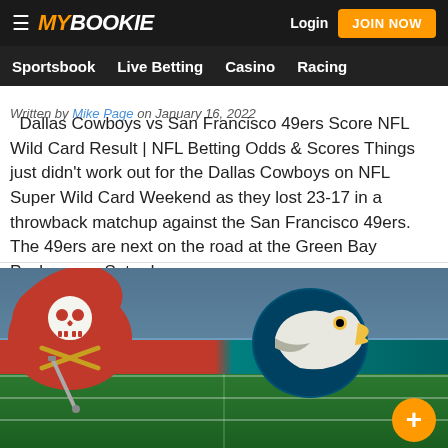MY BOOKIE — Login | JOIN NOW | Sportsbook | Live Betting | Casino | Racing
Written by Mike Page on January 16, 2022
Dallas Cowboys vs San Francisco 49ers Score NFL Wild Card Result | NFL Betting Odds & Scores Things just didn't work out for the Dallas Cowboys on NFL Super Wild Card Weekend as they lost 23-17 in a throwback matchup against the San Francisco 49ers. The 49ers are next on the road at the Green Bay Packers, on Saturday
Read More
[Figure (illustration): Tampa Bay Buccaneers vs Philadelphia Eagles matchup graphic on a football stadium background with team logos side by side on a red and teal banner, with an orange plus button in bottom right.]